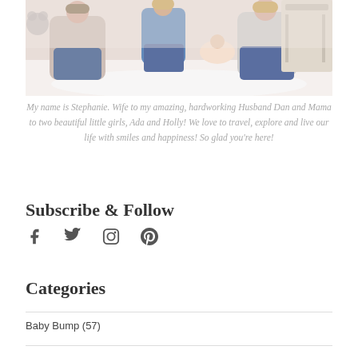[Figure (photo): Family photo showing a man, a young girl, a woman, and a newborn baby sitting together on a white rug in a light-colored room]
My name is Stephanie. Wife to my amazing, hardworking Husband Dan and Mama to two beautiful little girls, Ada and Holly! We love to travel, explore and live our life with smiles and happiness! So glad you're here!
Subscribe & Follow
[Figure (infographic): Social media icons: Facebook, Twitter, Instagram, Pinterest]
Categories
Baby Bump (57)